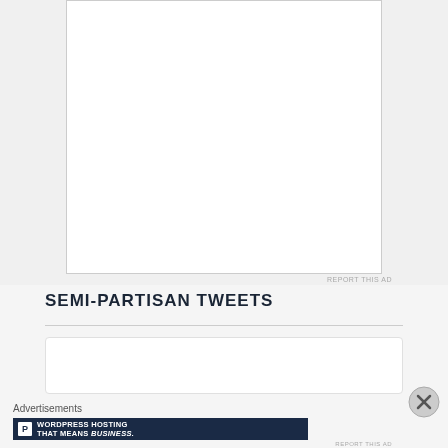[Figure (other): White advertisement box with border, blank content area]
REPORT THIS AD
SEMI-PARTISAN TWEETS
[Figure (screenshot): Partial tweet box showing beginning of tweet text cut off]
Advertisements
[Figure (other): WordPress Hosting banner advertisement: 'WORDPRESS HOSTING THAT MEANS BUSINESS.' with P icon and open sign photo]